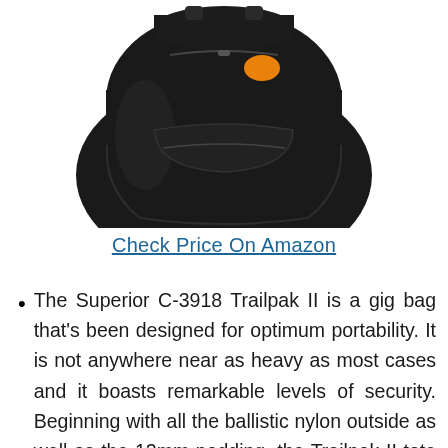[Figure (photo): A black gig bag (Superior C-3918 Trailpak II) photographed from the front, showing a padded nylon case with an orange oval logo/zipper pull, multiple compartments and pockets.]
Check Price On Amazon
The Superior C-3918 Trailpak II is a gig bag that's been designed for optimum portability. It is not anywhere near as heavy as most cases and it boasts remarkable levels of security. Beginning with all the ballistic nylon outside as well as the 12mm padding, the Trailpak II tote does not seem to have any difficulties with tear and wear.